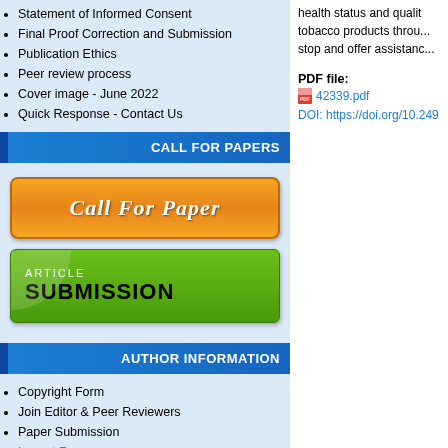Statement of Informed Consent
Final Proof Correction and Submission
Publication Ethics
Peer review process
Cover image - June 2022
Quick Response - Contact Us
CALL FOR PAPERS
[Figure (illustration): Orange Call For Paper button with white italic bold text]
[Figure (illustration): Green Article Submission button with white ARTICLE text and black SUBMISSION text]
AUTHOR INFORMATION
Copyright Form
Join Editor & Peer Reviewers
Paper Submission
health status and quality of life; the use of tobacco products through; stop and offer assistance
PDF file:
42339.pdf
DOI: https://doi.org/10.249